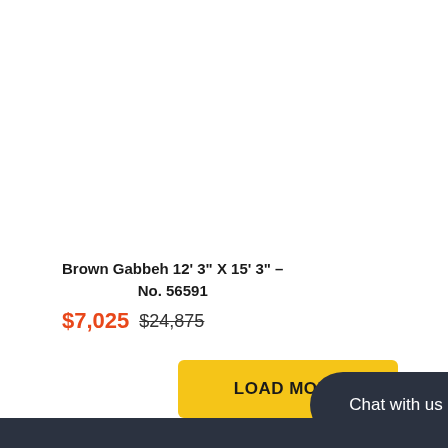Brown Gabbeh 12' 3" X 15' 3" – No. 56591
$7,025 $24,875
LOAD MORE
Chat with us